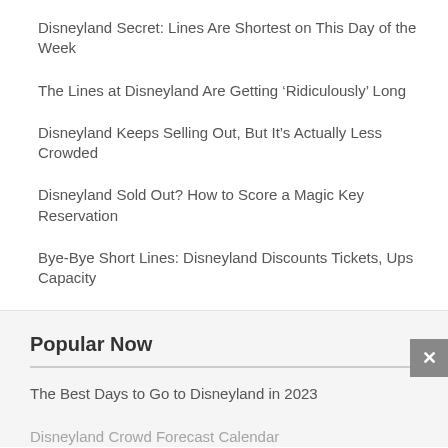Disneyland Secret: Lines Are Shortest on This Day of the Week
The Lines at Disneyland Are Getting ‘Ridiculously’ Long
Disneyland Keeps Selling Out, But It’s Actually Less Crowded
Disneyland Sold Out? How to Score a Magic Key Reservation
Bye-Bye Short Lines: Disneyland Discounts Tickets, Ups Capacity
Popular Now
The Best Days to Go to Disneyland in 2023
Disneyland Crowd Forecast Calendar